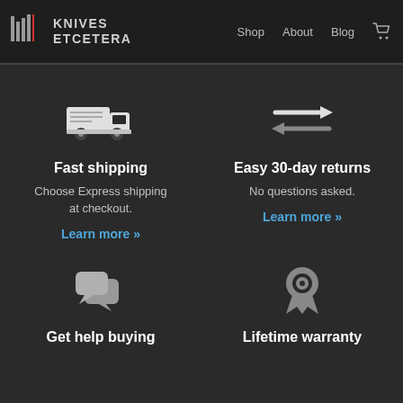KNIVES ETCETERA — Shop | About | Blog
[Figure (illustration): Delivery truck icon (white outline on dark background)]
Fast shipping
Choose Express shipping at checkout.
Learn more »
[Figure (illustration): Two horizontal arrows pointing in opposite directions (exchange/returns icon, white on dark background)]
Easy 30-day returns
No questions asked.
Learn more »
[Figure (illustration): Two speech bubble chat icons (gray on dark background)]
Get help buying
[Figure (illustration): Award ribbon/medal icon (gray on dark background)]
Lifetime warranty